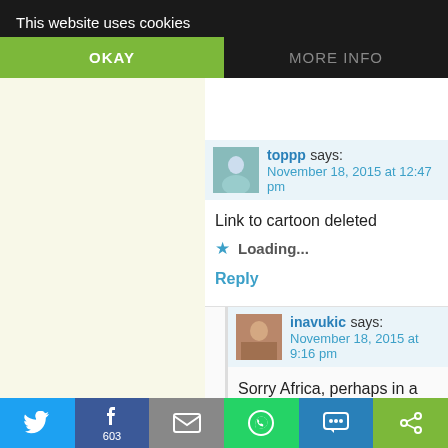reply
This website uses cookies
OKAY
MORE INFO
toppp says:
November 18, 2015 at 12:47 pm
Link to cartoon deleted
Loading...
Reply
inavukic says:
November 18, 2015 at 9:16 pm
Sorry Africa, perhaps in a different p... have been appropriate or more suite... 🙂
Loading...
[Figure (screenshot): Social share bar with Twitter, Facebook (603), Email, WhatsApp, SMS, and other sharing buttons]